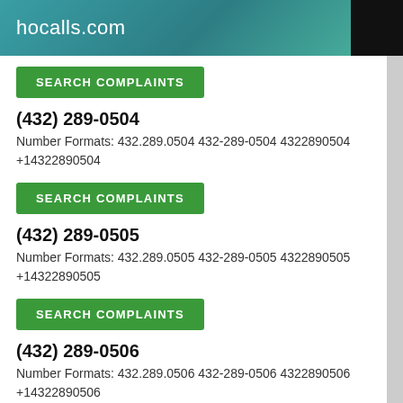hocalls.com
SEARCH COMPLAINTS
(432) 289-0504
Number Formats: 432.289.0504 432-289-0504 4322890504 +14322890504
SEARCH COMPLAINTS
(432) 289-0505
Number Formats: 432.289.0505 432-289-0505 4322890505 +14322890505
SEARCH COMPLAINTS
(432) 289-0506
Number Formats: 432.289.0506 432-289-0506 4322890506 +14322890506
SEARCH COMPLAINTS
(432) 289-0507
Number Formats: 432.289.0507 432-289-0507 4322890507 +14322890507